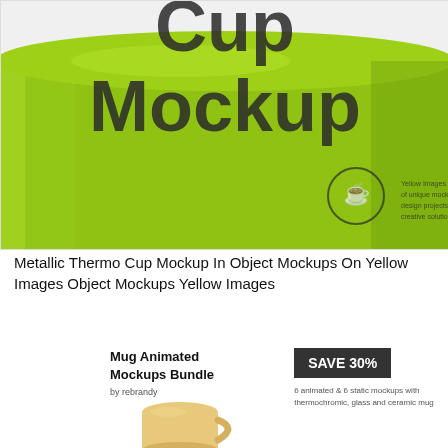[Figure (photo): Close-up photo of a metallic lime-green thermo cup mockup showing bold dark text 'Cup Mockup' on the cup surface along with a small coffee cup logo icon and text about Yellow Images marketplace]
Metallic Thermo Cup Mockup In Object Mockups On Yellow Images Object Mockups Yellow Images
[Figure (photo): Promotional card showing 'Mug Animated Mockups Bundle by rebrandy' with a yellow/orange mug image and a SAVE 30% badge with description text about animated mug mockups]